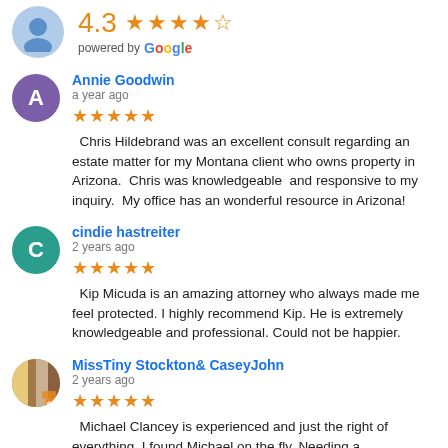[Figure (infographic): Generic user avatar (blue person icon on light blue background) with 4.3 star rating and 'powered by Google' text]
4.3 ★★★★☆ powered by Google
Annie Goodwin
a year ago
★★★★★ Chris Hildebrand was an excellent consult regarding an estate matter for my Montana client who owns property in Arizona. Chris was knowledgeable and responsive to my inquiry. My office has an wonderful resource in Arizona!
cindie hastreiter
2 years ago
★★★★★ Kip Micuda is an amazing attorney who always made me feel protected. I highly recommend Kip. He is extremely knowledgeable and professional. Could not be happier.
MissTiny Stockton& CaseyJohn
2 years ago
★★★★★ Michael Clancey is experienced and just the right of everything. I found Michael on the fly. Needing a